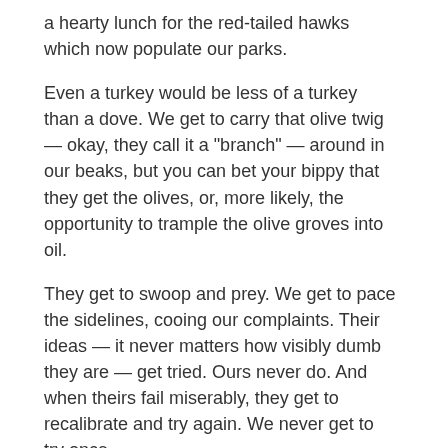a hearty lunch for the red-tailed hawks which now populate our parks.
Even a turkey would be less of a turkey than a dove. We get to carry that olive twig — okay, they call it a "branch" — around in our beaks, but you can bet your bippy that they get the olives, or, more likely, the opportunity to trample the olive groves into oil.
They get to swoop and prey. We get to pace the sidelines, cooing our complaints. Their ideas — it never matters how visibly dumb they are — get tried. Ours never do. And when theirs fail miserably, they get to recalibrate and try again. We never get to try once.
That's because it's well accepted that they are "realists" and we are "dreamers," or "utopians," or maybe, like most doves, vegans. If you're not addicted to force (and so failure), you're simply not a part of the grand scheme of things, of the world as it is.